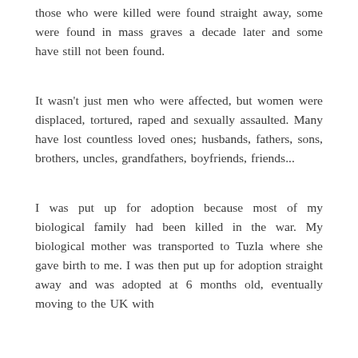those who were killed were found straight away, some were found in mass graves a decade later and some have still not been found.
It wasn't just men who were affected, but women were displaced, tortured, raped and sexually assaulted. Many have lost countless loved ones; husbands, fathers, sons, brothers, uncles, grandfathers, boyfriends, friends...
I was put up for adoption because most of my biological family had been killed in the war. My biological mother was transported to Tuzla where she gave birth to me. I was then put up for adoption straight away and was adopted at 6 months old, eventually moving to the UK with